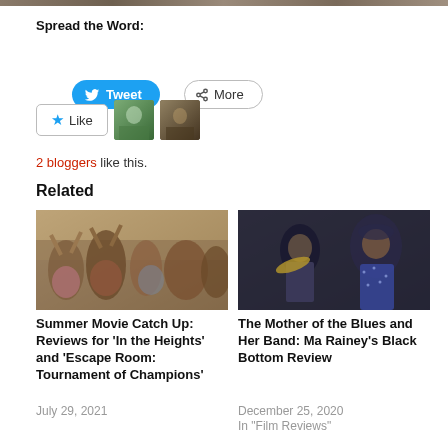[Figure (photo): Top banner image strip showing partial photo]
Spread the Word:
[Figure (screenshot): Tweet button (blue rounded) and More button (outlined rounded)]
[Figure (screenshot): Like button with star icon and two blogger avatar thumbnails]
2 bloggers like this.
Related
[Figure (photo): Photo of crowd celebrating with arms raised outdoors]
Summer Movie Catch Up: Reviews for 'In the Heights' and 'Escape Room: Tournament of Champions'
July 29, 2021
[Figure (photo): Photo of a man playing trumpet and a woman in sparkly dress against dark background]
The Mother of the Blues and Her Band: Ma Rainey's Black Bottom Review
December 25, 2020
In "Film Reviews"